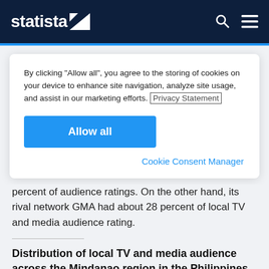statista
By clicking "Allow all", you agree to the storing of cookies on your device to enhance site navigation, analyze site usage, and assist in our marketing efforts. Privacy Statement
Allow all
Cookie Consent Manager
percent of audience ratings. On the other hand, its rival network GMA had about 28 percent of local TV and media audience rating.
Distribution of local TV and media audience across the Mindanao region in the Philippines